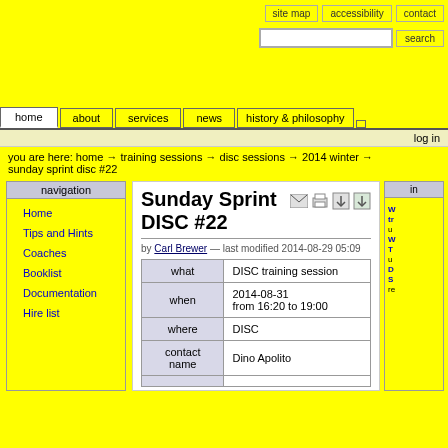site map   accessibility   contact
search
home | about | services | news | history & philosophy | log in
you are here: home → training sessions → disc sessions → 2014 winter → sunday sprint disc #22
Sunday Sprint DISC #22
by Carl Brewer — last modified 2014-08-29 05:09
| what | when | where | contact name |  |
| --- | --- | --- | --- | --- |
| what | DISC training session |
| when | 2014-08-31
from 16:20 to 19:00 |
| where | DISC |
| contact name | Dino Apolito |